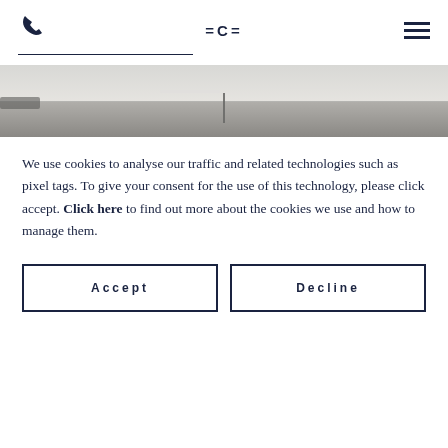☎  =C=  ☰
[Figure (photo): Minimalist seascape photo in greyscale showing a calm ocean horizon with a thin vertical pole/post in the center, very pale and misty tones.]
We use cookies to analyse our traffic and related technologies such as pixel tags. To give your consent for the use of this technology, please click accept. Click here to find out more about the cookies we use and how to manage them.
Accept
Decline